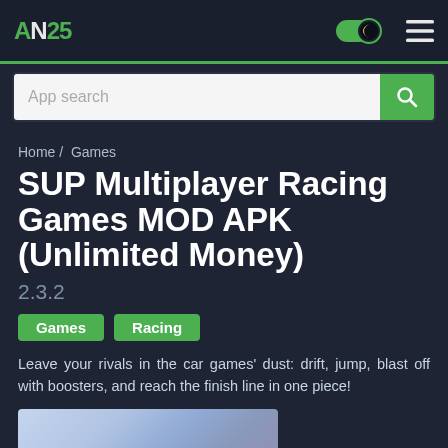AN25 — App site header with dark mode toggle and menu
App search
Home / Games
SUP Multiplayer Racing Games MOD APK (Unlimited Money)
2.3.2
Games
Racing
Leave your rivals in the car games' dust: drift, jump, blast off with boosters, and reach the finish line in one piece!
[Figure (screenshot): Partial preview image of the game at the bottom of the page]